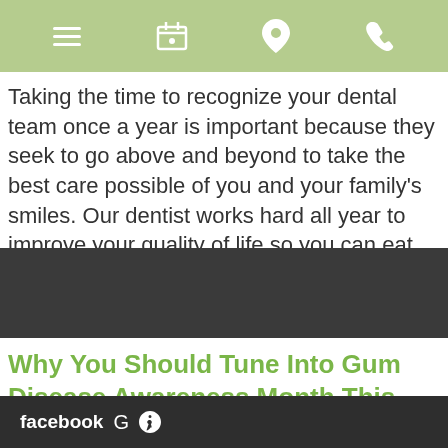Navigation bar with hamburger menu, calendar icon, location pin icon, phone icon
Taking the time to recognize your dental team once a year is important because they seek to go above and beyond to take the best care possible of you and your family's smiles. Our dentist works hard all year to improve your quality of life so you can eat, smile...
Read more »
[Figure (photo): Dark gray image block for article thumbnail]
Why You Should Tune Into Gum Disease Awareness Month This February
Posted February 1, 2022 by & filed under Uncategorized.
facebook G yelp